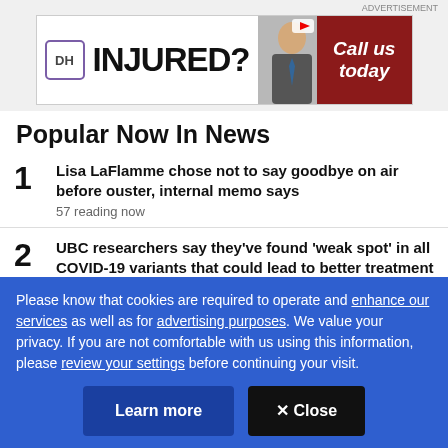[Figure (screenshot): Advertisement banner: DH logo, INJURED? text, man in suit photo, Call us today on red background]
Popular Now In News
1 Lisa LaFlamme chose not to say goodbye on air before ouster, internal memo says — 57 reading now
2 UBC researchers say they've found 'weak spot' in all COVID-19 variants that could lead to better treatment — 51 reading now
Please know that cookies are required to operate and enhance our services as well as for advertising purposes. We value your privacy. If you are not comfortable with us using this information, please review your settings before continuing your visit.